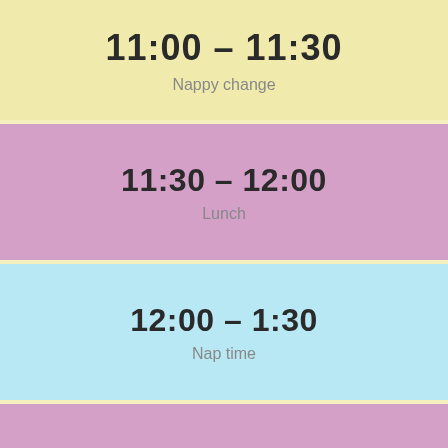11:00 - 11:30
Nappy change
11:30 - 12:00
Lunch
12:00 - 1:30
Nap time
1:30 - 2:00
Wake up & Nappy change
2:00 - 3:00